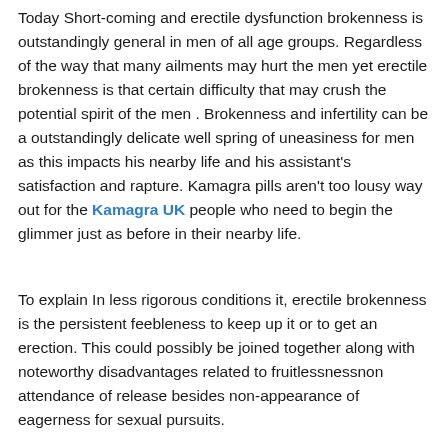Today Short-coming and erectile dysfunction brokenness is outstandingly general in men of all age groups. Regardless of the way that many ailments may hurt the men yet erectile brokenness is that certain difficulty that may crush the potential spirit of the men . Brokenness and infertility can be a outstandingly delicate well spring of uneasiness for men as this impacts his nearby life and his assistant's satisfaction and rapture. Kamagra pills aren't too lousy way out for the Kamagra UK people who need to begin the glimmer just as before in their nearby life.
To explain In less rigorous conditions it, erectile brokenness is the persistent feebleness to keep up it or to get an erection. This could possibly be joined together along with noteworthy disadvantages related to fruitlessnessnon attendance of release besides non-appearance of eagerness for sexual pursuits.